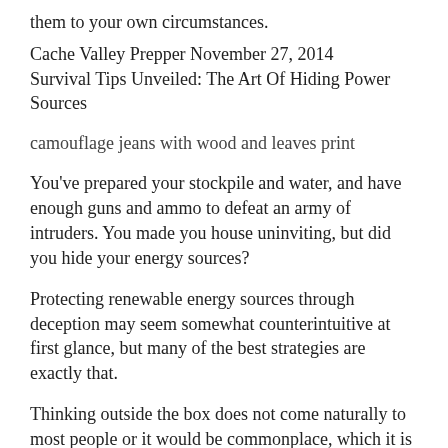them to your own circumstances.
Cache Valley Prepper November 27, 2014
Survival Tips Unveiled: The Art Of Hiding Power Sources
camouflage jeans with wood and leaves print
You've prepared your stockpile and water, and have enough guns and ammo to defeat an army of intruders. You made you house uninviting, but did you hide your energy sources?
Protecting renewable energy sources through deception may seem somewhat counterintuitive at first glance, but many of the best strategies are exactly that.
Thinking outside the box does not come naturally to most people or it would be commonplace, which it is not.
When I write of renewable energy, I am writing specifically about personal, camp, home, retreat or small groups of